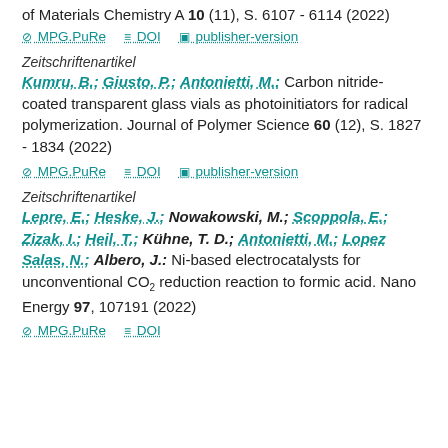of Materials Chemistry A 10 (11), S. 6107 - 6114 (2022)
MPG.PuRe   DOI   publisher-version
Zeitschriftenartikel
Kumru, B.; Giusto, P.; Antonietti, M.: Carbon nitride-coated transparent glass vials as photoinitiators for radical polymerization. Journal of Polymer Science 60 (12), S. 1827 - 1834 (2022)
MPG.PuRe   DOI   publisher-version
Zeitschriftenartikel
Lepre, E.; Heske, J.; Nowakowski, M.; Scoppola, E.; Zizak, I.; Heil, T.; Kühne, T. D.; Antonietti, M.; Lopez Salas, N.; Albero, J.: Ni-based electrocatalysts for unconventional CO2 reduction reaction to formic acid. Nano Energy 97, 107191 (2022)
MPG.PuRe   DOI